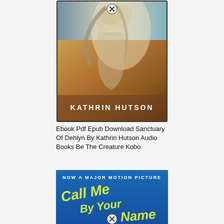[Figure (photo): Book cover for 'Sanctuary of Dehlyn' by Kathrin Hutson. Dark atmospheric cover showing a figure with flowing hair against earthy yellows, oranges and muted blues. Author name 'KATHRIN HUTSON' in white text at bottom center. A small X/close button icon at top center.]
Ebook Pdf Epub Download Sanctuary Of Dehlyn By Kathrin Hutson Audio Books Be The Creature Kobo
[Figure (photo): Book cover for 'Call Me By Your Name' - Now A Major Motion Picture edition. Bright blue background with yellow-green handwritten-style text reading 'CALL ME BY YOUR NAME'. White text at top reads 'NOW A MAJOR MOTION PICTURE'. A small X/close button icon at bottom center.]